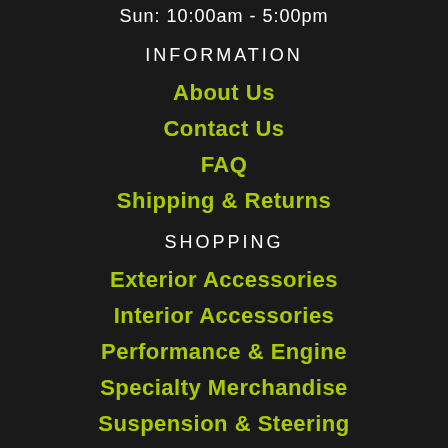Sun: 10:00am - 5:00pm
INFORMATION
About Us
Contact Us
FAQ
Shipping & Returns
SHOPPING
Exterior Accessories
Interior Accessories
Performance & Engine
Specialty Merchandise
Suspension & Steering
Tire & Wheel